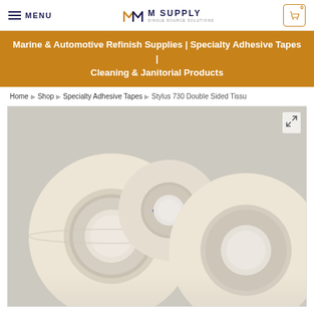MENU | M Supply | 0
Marine & Automotive Refinish Supplies | Specialty Adhesive Tapes | Cleaning & Janitorial Products
Home > Shop > Specialty Adhesive Tapes > Stylus 730 Double Sided Tissu
[Figure (photo): Three rolls of double-sided tissue tape (Stylus 730) on a light gray background. Two larger rolls on the left side and right side, one smaller roll in the middle-back. The tape rolls are cream/ivory colored with blue printed cores visible.]